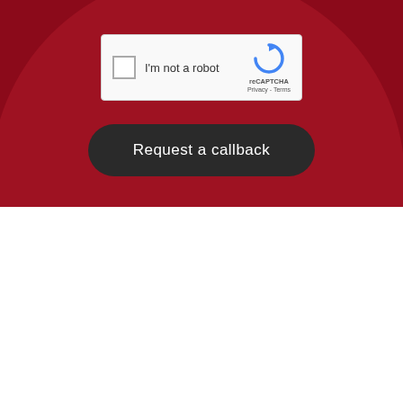[Figure (screenshot): reCAPTCHA widget with checkbox labeled 'I'm not a robot' and reCAPTCHA logo with Privacy and Terms links]
Request a callback
What is Your Home's Value?
Our real estate agents love what they do and it shows! Call us for a consultation or